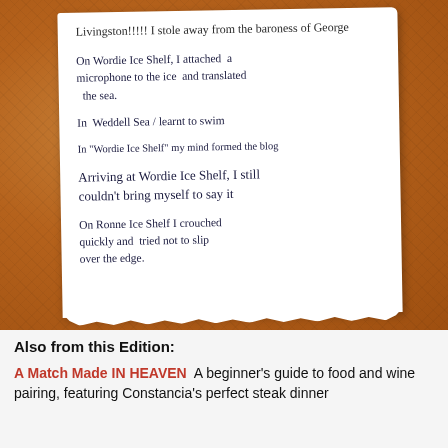[Figure (photo): A handwritten note pinned to a corkboard. The note reads: 'Livingston!!!!! I stole away from the baroness of George / On Wordie Ice Shelf, I attached a microphone to the ice and translated the sea. / In Weddell Sea I learnt to swim / In "Wordie Ice Shelf" my mind formed the blog / Arriving at Wordie Ice Shelf, I still couldn't bring myself to say it / On Ronne Ice Shelf I crouched quickly and tried not to slip over the edge.']
Also from this Edition:
A Match Made IN HEAVEN  A beginner's guide to food and wine pairing, featuring Constancia's perfect steak dinner